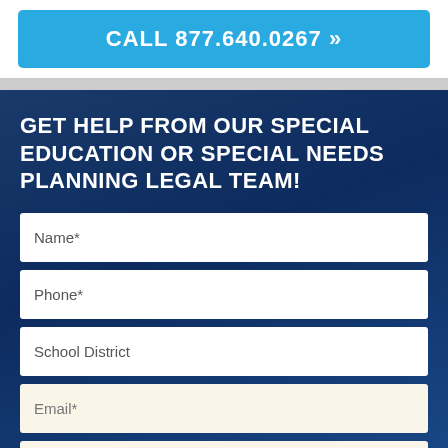CALL 877.640.0267 »
GET HELP FROM OUR SPECIAL EDUCATION OR SPECIAL NEEDS PLANNING LEGAL TEAM!
Name*
Phone*
School District
Email*
Reason for contacting us